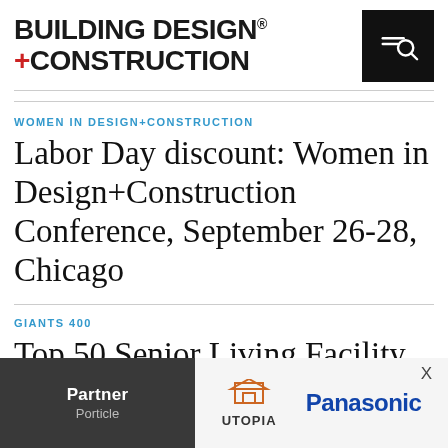BUILDING DESIGN +CONSTRUCTION
WOMEN IN DESIGN+CONSTRUCTION
Labor Day discount: Women in Design+Construction Conference, September 26-28, Chicago
GIANTS 400
Top 50 Senior Living Facility Cont... CM Firms for 2022
[Figure (screenshot): Ad overlay with Partner label on dark background, Utopia logo, and Panasonic logo with X close button]